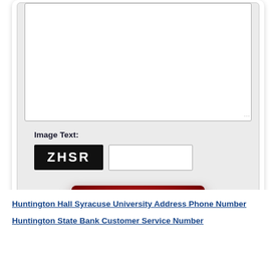[Figure (screenshot): A form section with a textarea, CAPTCHA image showing 'ZHSR', a CAPTCHA text input field, and a dark red Submit button, all inside a light gray rounded box.]
Image Text:
Huntington Hall Syracuse University Address Phone Number
Huntington State Bank Customer Service Number